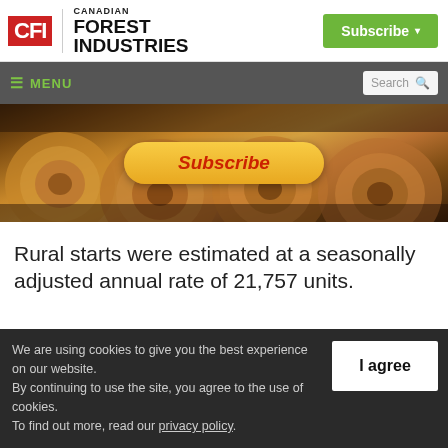[Figure (logo): Canadian Forest Industries (CFI) logo with red CFI box and black text]
[Figure (screenshot): Green Subscribe button with dropdown arrow in top right header]
[Figure (screenshot): Dark grey navigation bar with green MENU label and search box]
[Figure (photo): Banner image of stacked logs with a yellow oval Subscribe button overlaid in red italic text]
Rural starts were estimated at a seasonally adjusted annual rate of 21,757 units.
We are using cookies to give you the best experience on our website. By continuing to use the site, you agree to the use of cookies. To find out more, read our privacy policy.